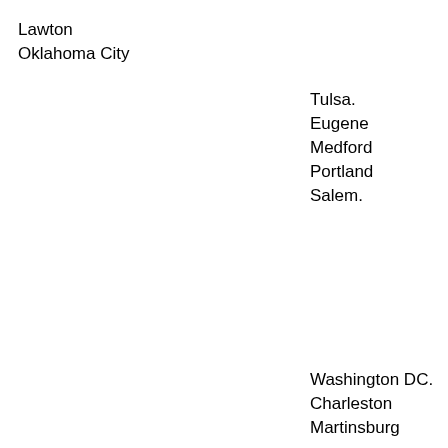Lawton
Oklahoma City
Tulsa.
Eugene
Medford
Portland
Salem.
Washington DC.
Charleston
Martinsburg